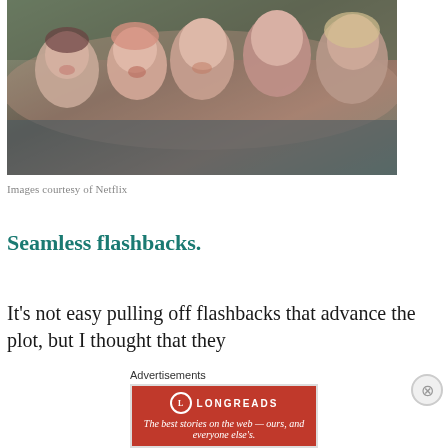[Figure (photo): Group of smiling people — adults and teens — photographed together, appearing joyful. Netflix production still.]
Images courtesy of Netflix
Seamless flashbacks.
It's not easy pulling off flashbacks that advance the plot, but I thought that they
[Figure (other): Advertisement banner: Longreads — The best stories on the web — ours, and everyone else's.]